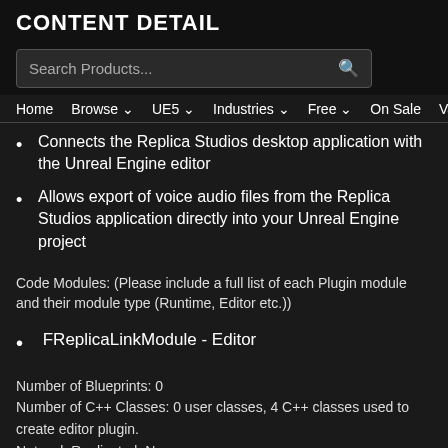CONTENT DETAIL
[Figure (screenshot): Search Products... input box with search icon]
Home  Browse ∨  UE5 ∨  Industries ∨  Free ∨  On Sale  Vault  Help
Connects the Replica Studios desktop application with the Unreal Engine editor
Allows export of voice audio files from the Replica Studios application directly into your Unreal Engine project
Code Modules: (Please include a full list of each Plugin module and their module type (Runtime, Editor etc.))
FReplicaLinkModule - Editor
Number of Blueprints: 0
Number of C++ Classes: 0 user classes, 4 C++ classes used to create editor plugin.
Network Replicated: No